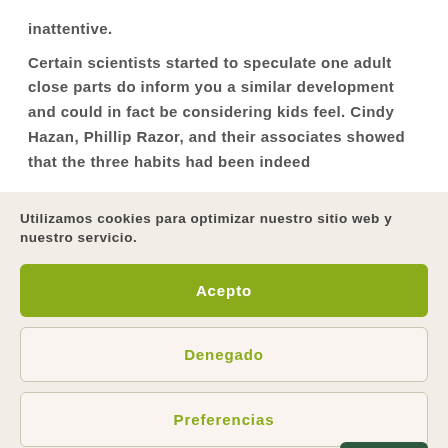inattentive.
Certain scientists started to speculate one adult close parts do inform you a similar development and could in fact be considering kids feel. Cindy Hazan, Phillip Razor, and their associates showed that the three habits had been indeed
Utilizamos cookies para optimizar nuestro sitio web y nuestro servicio.
Acepto
Denegado
Preferencias
Política de cookies   Política de privacidad   Avis...   Idioma